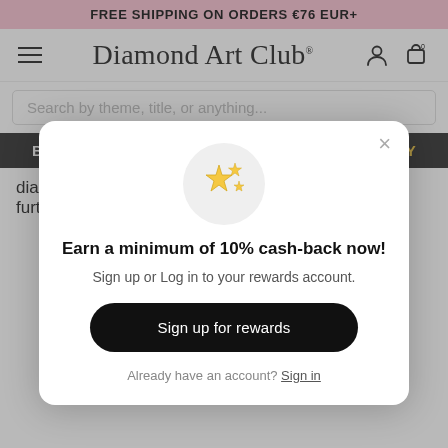FREE SHIPPING ON ORDERS €76 EUR+
[Figure (screenshot): Diamond Art Club navigation bar with hamburger menu, script logo, person icon and cart icon]
Search by theme, title, or anything...
BUY ONE GET ONE 50% OFF with CODE LABORDAY
diamonds to it as you'll certainly melt the drills and further
[Figure (infographic): Popup modal: Earn a minimum of 10% cash-back now! Sign up or Log in to your rewards account. Sign up for rewards button. Already have an account? Sign in link.]